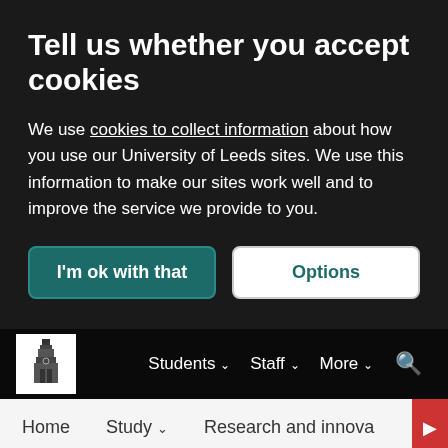Tell us whether you accept cookies
We use cookies to collect information about how you use our University of Leeds sites. We use this information to make our sites work well and to improve the service we provide to you.
I'm ok with that
Options
Students ∨  Staff ∨  More ∨  🔍
Home   Study ∨   Research and innova ▶